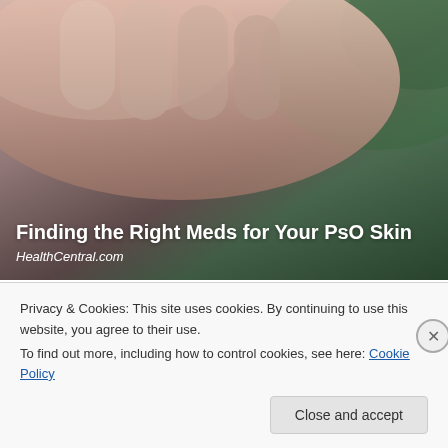[Figure (photo): Hero image showing a close-up of a hand with skin condition, with green foliage background. Overlaid with article title and source.]
Finding the Right Meds for Your PsO Skin
HealthCentral.com
[Figure (photo): Thumbnail image of a woman browsing products on store shelves, viewed from behind in a pharmacy or grocery aisle.]
Sizing Up Your Psoriasis Medicine Cabinet
HealthCentral
Privacy & Cookies: This site uses cookies. By continuing to use this website, you agree to their use.
To find out more, including how to control cookies, see here: Cookie Policy
Close and accept